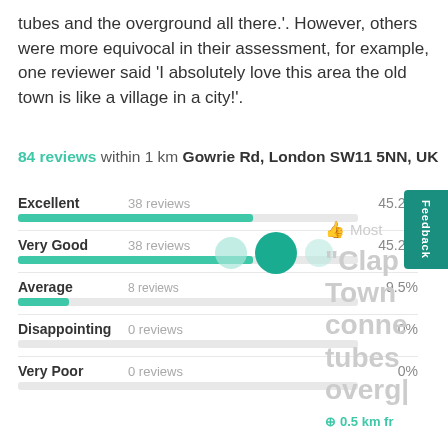tubes and the overground all there.'. However, others were more equivocal in their assessment, for example, one reviewer said 'I absolutely love this area the old town is like a village in a city!'.
84 reviews within 1 km Gowrie Rd, London SW11 5NN, UK
[Figure (bar-chart): Review ratings near Gowrie Rd, London SW11 5NN, UK]